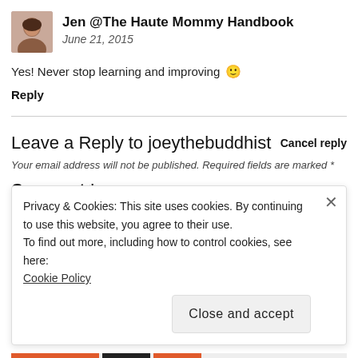Jen @The Haute Mommy Handbook
June 21, 2015
Yes! Never stop learning and improving 🙂
Reply
Leave a Reply to joeythebuddhist
Cancel reply
Your email address will not be published. Required fields are marked *
Comment *
Privacy & Cookies: This site uses cookies. By continuing to use this website, you agree to their use.
To find out more, including how to control cookies, see here:
Cookie Policy
Close and accept